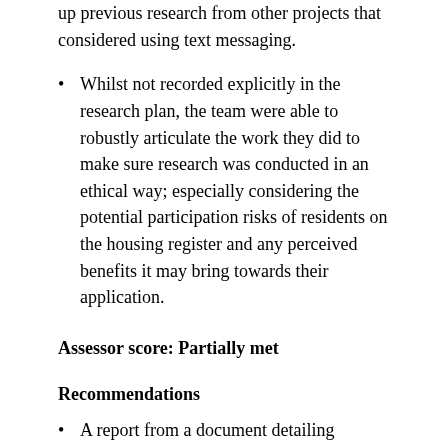up previous research from other projects that considered using text messaging.
Whilst not recorded explicitly in the research plan, the team were able to robustly articulate the work they did to make sure research was conducted in an ethical way; especially considering the potential participation risks of residents on the housing register and any perceived benefits it may bring towards their application.
Assessor score: Partially met
Recommendations
A report from a document detailing...